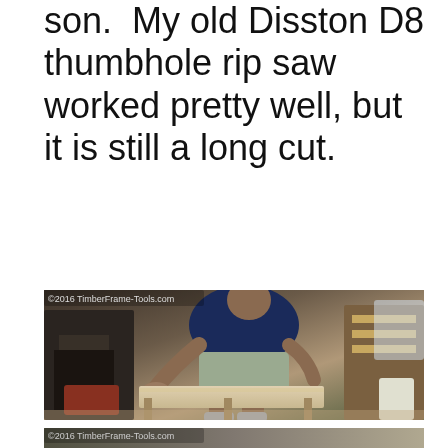son.  My old Disston D8 thumbhole rip saw worked pretty well, but it is still a long cut.
[Figure (photo): Man in navy blue shirt and grey shorts leaning over a long wooden beam in a workshop, using a hand saw. Workshop tools and equipment visible in background. Watermark: ©2016 TimberFrame-Tools.com]
[Figure (photo): Partial view of another workshop photo. Watermark: ©2016 TimberFrame-Tools.com]